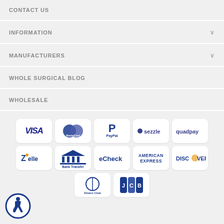CONTACT US
INFORMATION
MANUFACTURERS
WHOLE SURGICAL BLOG
WHOLESALE
[Figure (logo): Payment method logos: VISA, MasterCard, PayPal, Sezzle, Quadpay, Zelle, Bank Transfer, eCheck, American Express, Discover, Diners Club, JCB]
[Figure (logo): Accessibility icon - wheelchair user in circle]